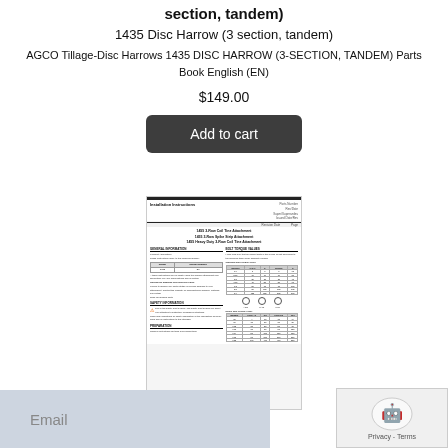section, tandem)
1435 Disc Harrow (3 section, tandem)
AGCO Tillage-Disc Harrows 1435 DISC HARROW (3-SECTION, TANDEM) Parts Book English (EN)
$149.00
Add to cart
[Figure (other): Preview thumbnail of installation instructions document for 1435 Disc Harrow with two-column layout showing general information, safety information, preparation sections, and bolt torque value tables]
Email
[Figure (other): reCAPTCHA widget showing robot checkbox icon with Privacy - Terms text]